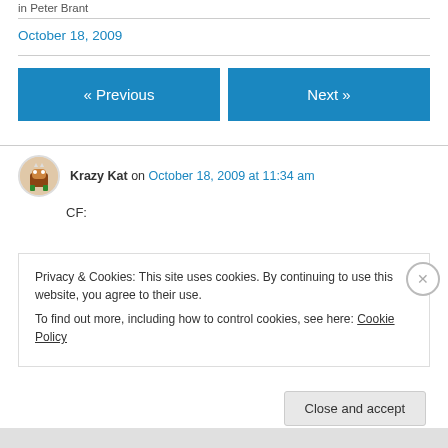in Peter Brant
October 18, 2009
« Previous
Next »
Krazy Kat on October 18, 2009 at 11:34 am
CF:
Privacy & Cookies: This site uses cookies. By continuing to use this website, you agree to their use.
To find out more, including how to control cookies, see here: Cookie Policy
Close and accept